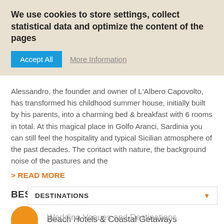We use cookies to store settings, collect statistical data and optimize the content of the pages
Accept All   More Information
Alessandro, the founder and owner of L'Albero Capovolto, has transformed his childhood summer house, initially built by his parents, into a charming bed & breakfast with 6 rooms in total. At this magical place in Golfo Aranci, Sardinia you can still feel the hospitality and typical Sicilian atmosphere of the past decades. The contact with nature, the background noise of the pastures and the
> READ MORE
BEST FOR
Beach Hotels & Coastal Getaways
Village Feel
DESTINATIONS
Wedding Venues and Destinations